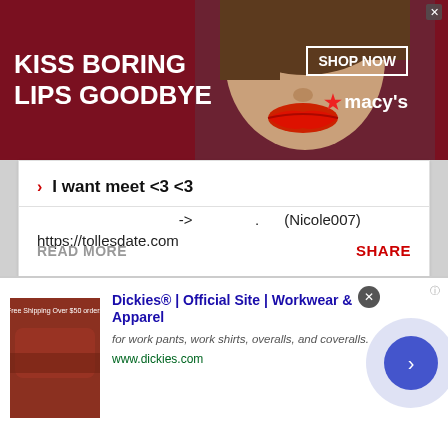[Figure (screenshot): Macy's advertisement banner with red background, text 'KISS BORING LIPS GOODBYE', woman's face with red lips, 'SHOP NOW' button, and Macy's star logo]
I want meet <3 <3
-> (Nicole007)
https://tollesdate.com
READ MORE
SHARE
[Figure (screenshot): Dickies advertisement: thumbnail of red couch/furniture, title 'Dickies® | Official Site | Workwear & Apparel', description 'for work pants, work shirts, overalls, and coveralls.', URL 'www.dickies.com', blue arrow circle button]